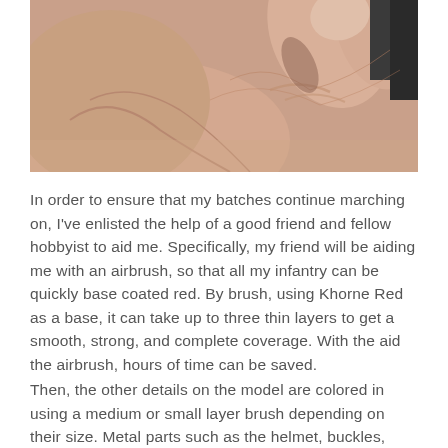[Figure (photo): Close-up photo of a person's fingers, skin texture visible, dark background on upper right corner.]
In order to ensure that my batches continue marching on, I've enlisted the help of a good friend and fellow hobbyist to aid me. Specifically, my friend will be aiding me with an airbrush, so that all my infantry can be quickly base coated red. By brush, using Khorne Red as a base, it can take up to three thin layers to get a smooth, strong, and complete coverage. With the aid the airbrush, hours of time can be saved.
Then, the other details on the model are colored in using a medium or small layer brush depending on their size. Metal parts such as the helmet, buckles,